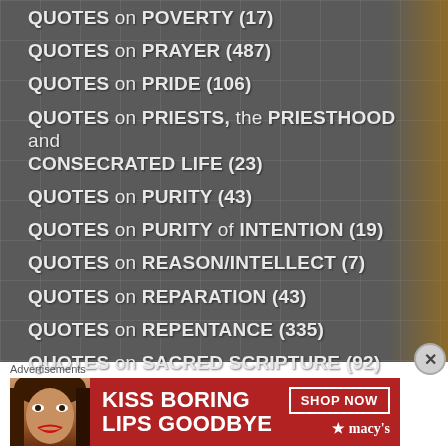QUOTES on POVERTY (17)
QUOTES on PRAYER (487)
QUOTES on PRIDE (106)
QUOTES on PRIESTS, the PRIESTHOOD and CONSECRATED LIFE (23)
QUOTES on PURITY (43)
QUOTES on PURITY of INTENTION (19)
QUOTES on REASON/INTELLECT (7)
QUOTES on REPARATION (43)
QUOTES on REPENTANCE (335)
QUOTES on SACRED SCRIPTURE (92)
QUOTES on SACRIFICE (±13)
Advertisements
[Figure (photo): Macy's advertisement banner: 'KISS BORING LIPS GOODBYE' with SHOP NOW button on red background with woman's face]